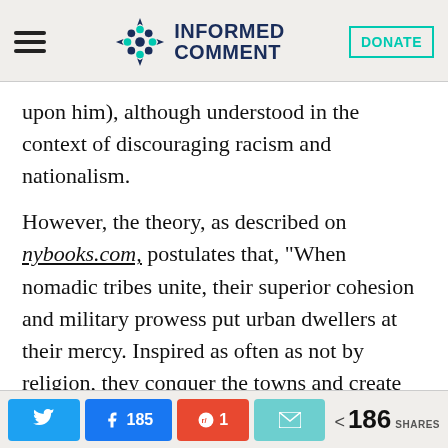Informed Comment — DONATE
upon him), although understood in the context of discouraging racism and nationalism.
However, the theory, as described on nybooks.com, postulates that, “When nomadic tribes unite, their superior cohesion and military prowess put urban dwellers at their mercy. Inspired as often as not by religion, they conquer the towns and create new regimes. But within a few generations,
Twitter | Facebook 185 | Reddit 1 | Email | < 186 SHARES